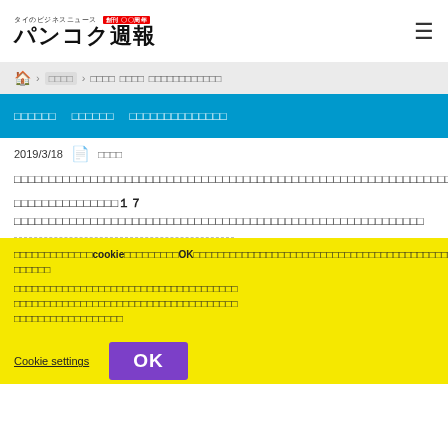タイのビジネスニュース バンコク週報
🏠 > □□□□ > □□□□ □□□□ □□□□□□□□□□□□
□□□□□□ □□□□□□ □□□□□□□□□□□□□□
2019/3/18 □□□□
□□□□□□□□□□□□□□□□□□□□□□□□□□□□□□□□□□□□□□□□□□□□□□□□□□□□□□□□□□□□□□□□□□□□□□□□□□□□□□□□
□□□□□□□□□□□□□□□１７□□□□□□□□□□□□□□□□□□□□□□□□□□□□□□□□□□□□□□□□□□□□□□□□□□□□□□□□□□
□□□□□□□□□□□□□cookieを使用しています。OKを□□□□□□□□□□□□□□□□□□□□□□□□□□□□□□□□□□
□□□□□□□□□□□□□□□□□□□□□□□□□□□ □□□□□□□□□□□□□□□□□□□□□□□□□□□□□□□□□□□□□
□□□□□□□□□□□□□□□□□
Cookie settings
OK